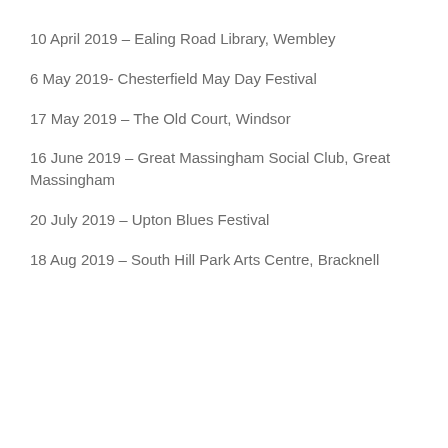10 April 2019 – Ealing Road Library, Wembley
6 May 2019- Chesterfield May Day Festival
17 May 2019 – The Old Court, Windsor
16 June 2019 – Great Massingham Social Club, Great Massingham
20 July 2019 – Upton Blues Festival
18 Aug 2019 – South Hill Park Arts Centre, Bracknell